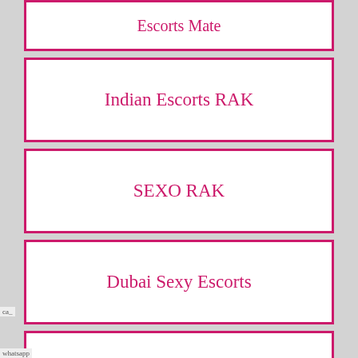Escorts Mate
Indian Escorts RAK
SEXO RAK
Dubai Sexy Escorts
Call Girl Dubai